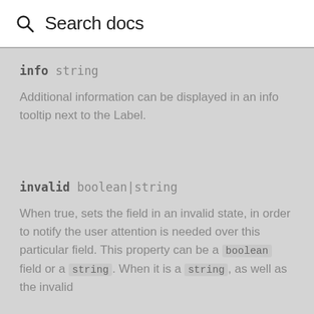[Figure (screenshot): Search bar with magnifying glass icon and placeholder text 'Search docs']
info string
Additional information can be displayed in an info tooltip next to the Label.
invalid boolean|string
When true, sets the field in an invalid state, in order to notify the user attention is needed over this particular field. This property can be a boolean field or a string. When it is a string, as well as the invalid